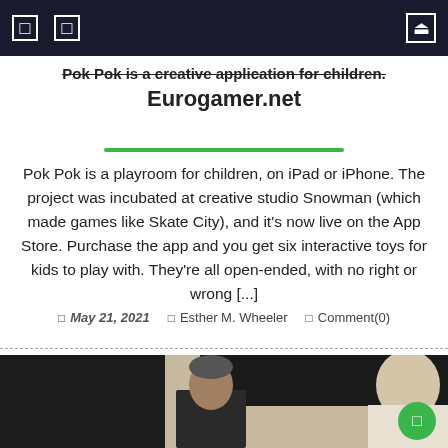Navigation bar with menu icons and search
Pok Pok is a creative application for children. Eurogamer.net
Pok Pok is a playroom for children, on iPad or iPhone. The project was incubated at creative studio Snowman (which made games like Skate City), and it's now live on the App Store. Purchase the app and you get six interactive toys for kids to play with. They're all open-ended, with no right or wrong [...]
May 21, 2021   Esther M. Wheeler   Comment(0)
[Figure (photo): Photo of people in a meeting room, two individuals visible, one facing camera in center, one seen from behind on the right]